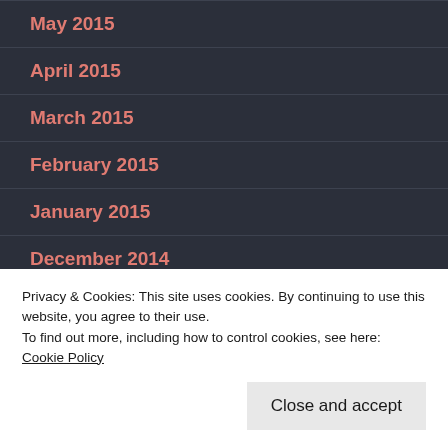May 2015
April 2015
March 2015
February 2015
January 2015
December 2014
November 2014
October 2014
July 2014
Privacy & Cookies: This site uses cookies. By continuing to use this website, you agree to their use. To find out more, including how to control cookies, see here: Cookie Policy
Close and accept